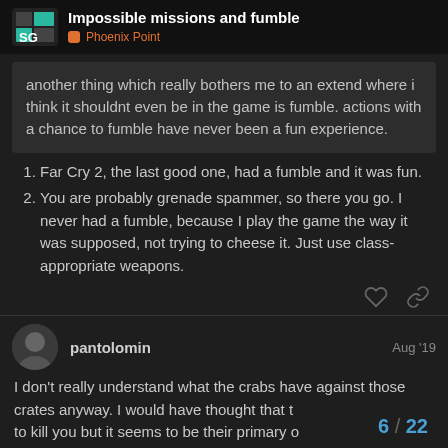Impossible missions and fumble — Phoenix Point
another thing which really bothers me to an extend where i think it shouldnt even be in the game is fumble. actions with a chance to fumble have never been a fun experience.
Far Cry 2, the last good one, had a fumble and it was fun.
You are probably grenade spammer, so there you go. I never had a fumble, because I play the game the way it was supposed, not trying to cheese it. Just use class-appropriate weapons.
pantolomin  Aug '19
I don't really understand what the crabs have against those crates anyway. I would have thought that t... to kill you but it seems to be their primary o...
6 / 22